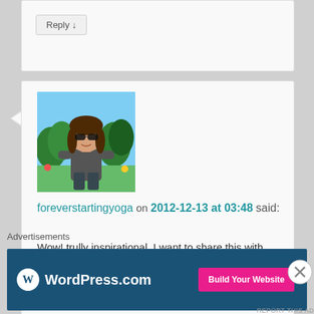Reply ↓
[Figure (illustration): Cartoon avatar of a woman with brown hair and sunglasses, wearing a green hoodie, standing in a forest/garden background with flowers]
foreverstartingyoga on 2012-12-13 at 03:48 said:
Wow! trully inspirational. I want to share this with everyone in my world and encourage the true spirit of Christmas. Reading this post has definitely motivated me to follow your example. Thank you! 🙂
Advertisements
[Figure (screenshot): WordPress.com advertisement banner with logo on dark blue background and pink 'Build Your Website' button]